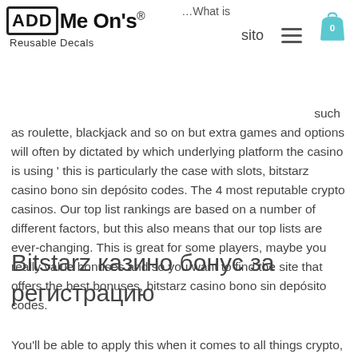ADD Me On's® Reusable Decals
such as roulette, blackjack and so on but extra games and options will often by dictated by which underlying platform the casino is using ' this is particularly the case with slots, bitstarz casino bono sin depósito codes. The 4 most reputable crypto casinos. Our top list rankings are based on a number of different factors, but this also means that our top lists are ever-changing. This is great for some players, maybe you really value bonuses and so you want to find the site that offers the best bonuses, bitstarz casino bono sin depósito codes.
Bitstarz казино бонус за регистрацию
You'll be able to apply this when it comes to all things crypto, bitstarz casino bono sin